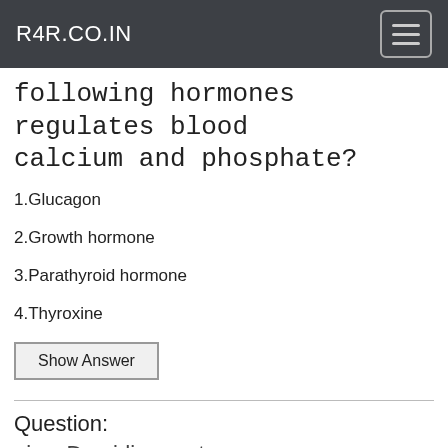R4R.CO.IN
following hormones regulates blood calcium and phosphate?
1.Glucagon
2.Growth hormone
3.Parathyroid hormone
4.Thyroxine
Show Answer
Question:
is a Dravidian system